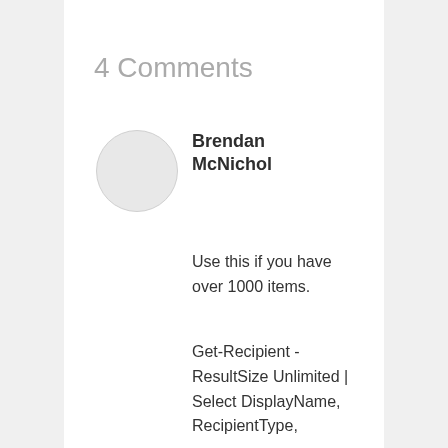4 Comments
[Figure (illustration): Circular avatar placeholder, light gray filled circle with thin border]
Brendan McNichol
Use this if you have over 1000 items.
Get-Recipient -ResultSize Unlimited | Select DisplayName, RecipientType,